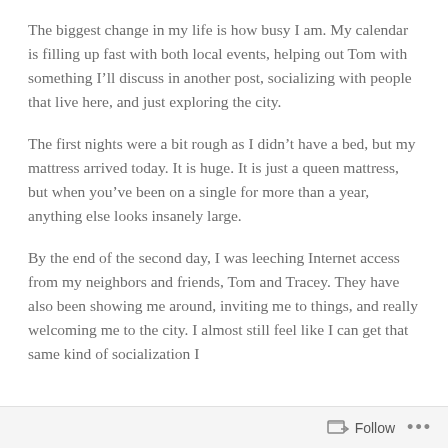The biggest change in my life is how busy I am. My calendar is filling up fast with both local events, helping out Tom with something I’ll discuss in another post, socializing with people that live here, and just exploring the city.
The first nights were a bit rough as I didn’t have a bed, but my mattress arrived today. It is huge. It is just a queen mattress, but when you’ve been on a single for more than a year, anything else looks insanely large.
By the end of the second day, I was leeching Internet access from my neighbors and friends, Tom and Tracey. They have also been showing me around, inviting me to things, and really welcoming me to the city. I almost still feel like I can get that same kind of socialization I
Follow ···